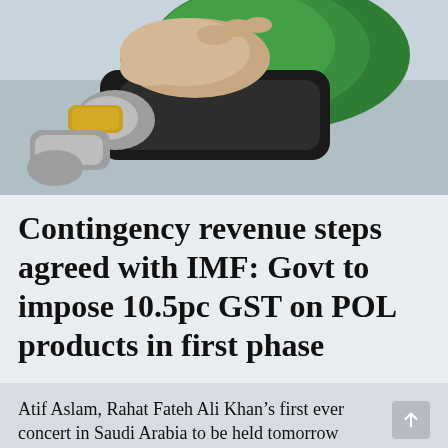[Figure (photo): Close-up of a hand holding a green fuel nozzle inserting it into a vehicle's fuel tank]
Contingency revenue steps agreed with IMF: Govt to impose 10.5pc GST on POL products in first phase
Atif Aslam, Rahat Fateh Ali Khan’s first ever concert in Saudi Arabia to be held tomorrow
Intra-day update: rupee hovers around 220-221